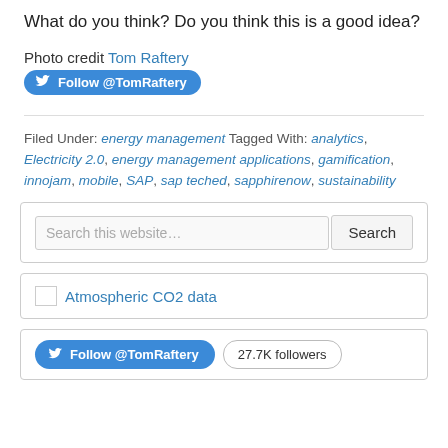What do you think? Do you think this is a good idea?
Photo credit Tom Raftery
Follow @TomRaftery
Filed Under: energy management Tagged With: analytics, Electricity 2.0, energy management applications, gamification, innojam, mobile, SAP, sap teched, sapphirenow, sustainability
Search this website…
Search
Atmospheric CO2 data
Follow @TomRaftery
27.7K followers